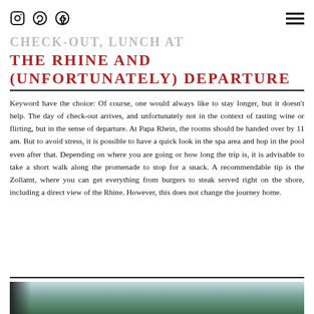Social icons (Instagram, Pinterest, Facebook) and hamburger menu
CHECK-OUT, LUNCH AT THE RHINE AND (UNFORTUNATELY) DEPARTURE
Keyword have the choice: Of course, one would always like to stay longer, but it doesn't help. The day of check-out arrives, and unfortunately not in the context of tasting wine or flirting, but in the sense of departure. At Papa Rhein, the rooms should be handed over by 11 am. But to avoid stress, it is possible to have a quick look in the spa area and hop in the pool even after that. Depending on where you are going or how long the trip is, it is advisable to take a short walk along the promenade to stop for a snack. A recommendable tip is the Zollamt, where you can get everything from burgers to steak served right on the shore, including a direct view of the Rhine. However, this does not change the journey home.
[Figure (photo): Partial photo of a scenic Rhine view with green landscape, partially visible at bottom of page]